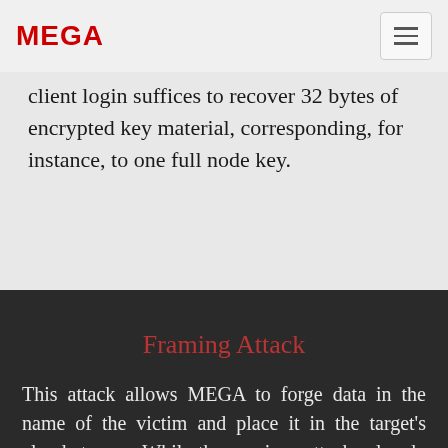MEGA
client login suffices to recover 32 bytes of encrypted key material, corresponding, for instance, to one full node key.
Framing Attack
This attack allows MEGA to forge data in the name of the victim and place it in the target's cloud storage. While the previous attacks already allow…